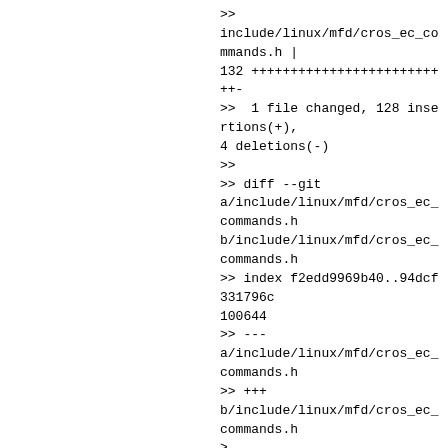>>
include/linux/mfd/cros_ec_commands.h | 132 ++++++++++++++++++++++++++-
>>  1 file changed, 128 insertions(+), 4 deletions(-)
>>
>> diff --git a/include/linux/mfd/cros_ec_commands.h b/include/linux/mfd/cros_ec_commands.h
>> index f2edd9969b40..94dcf331796c 100644
>> ---
a/include/linux/mfd/cros_ec_commands.h
>> +++
b/include/linux/mfd/cros_ec_commands.h
>
> [...]
>
>> +struct ec_response_pd_log {
>> +    uint32_t timestamp; /* relative timestamp in milliseconds */
>> +    uint8_t type;       /* event type : see PD_EVENT_xx below */
>> +    uint8_t size_port;  /* [7:5] port number [4:0] payload size in bytes */
>> +    uint16_t data;      /* type-defined data payload */
>> +    uint8_t payload[0]; /* optional additional data payload: 0..16 bytes */